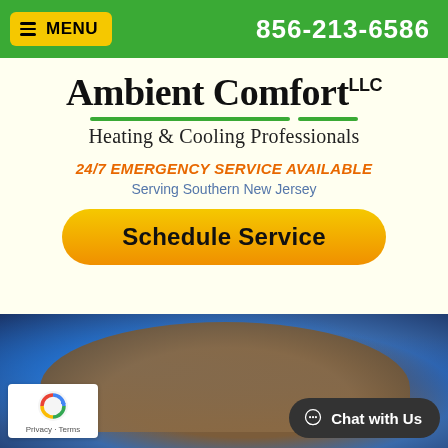≡MENU    856-213-6586
Ambient Comfort LLC
Heating & Cooling Professionals
24/7 EMERGENCY SERVICE AVAILABLE
Serving Southern New Jersey
Schedule Service
[Figure (photo): HVAC ductwork or equipment with blue lighting glow]
Privacy · Terms
Chat with Us